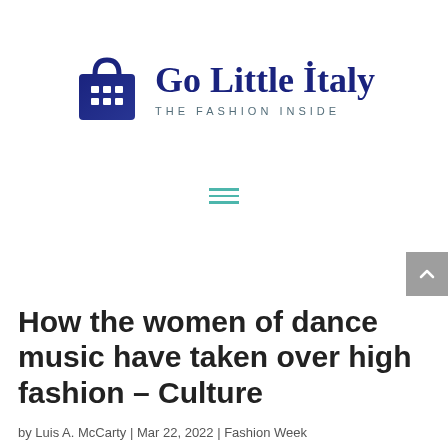[Figure (logo): Go Little Italy logo with a dark navy shopping bag icon on the left and the text 'Go Little Italy' in large serif navy font with tagline 'THE FASHION INSIDE' below in spaced sans-serif teal/grey letters]
[Figure (other): Three horizontal teal lines forming a hamburger/menu icon]
How the women of dance music have taken over high fashion – Culture
by Luis A. McCarty | Mar 22, 2022 | Fashion Week